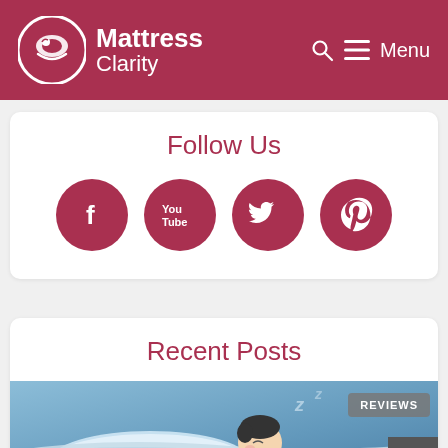Mattress Clarity — Menu
Follow Us
[Figure (infographic): Four social media icons (Facebook, YouTube, Twitter, Pinterest) as white icons on dark red circles]
Recent Posts
[Figure (illustration): Illustration of a person sleeping in bed, cartoon style, with Z letters indicating sleep, and a REVIEWS badge overlay]